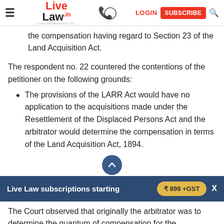Live Law | LOGIN | SUBSCRIBE
the compensation having regard to Section 23 of the Land Acquisition Act.
The respondent no. 22 countered the contentions of the petitioner on the following grounds:
The provisions of the LARR Act would have no application to the acquisitions made under the Resettlement of the Displaced Persons Act and the arbitrator would determine the compensation in terms of the Land Acquisition Act, 1894.
Live Law subscriptions starting ₹ 899 +GST
The Court observed that originally the arbitrator was to determine the quantum of compensation for the